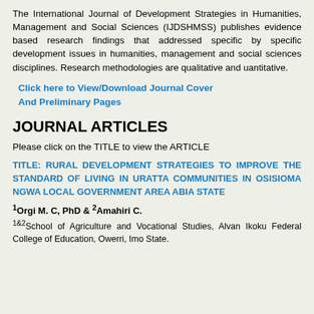The International Journal of Development Strategies in Humanities, Management and Social Sciences (IJDSHMSS) publishes evidence based research findings that addressed specific by specific development issues in humanities, management and social sciences disciplines. Research methodologies are qualitative and uantitative.
Click here to View/Download Journal Cover And Preliminary Pages
JOURNAL ARTICLES
Please click on the TITLE to view the ARTICLE
TITLE: RURAL DEVELOPMENT STRATEGIES TO IMPROVE THE STANDARD OF LIVING IN URATTA COMMUNITIES IN OSISIOMA NGWA LOCAL GOVERNMENT AREA ABIA STATE
1Orgi M. C, PhD & 2Amahiri C.
1&2School of Agriculture and Vocational Studies, Alvan Ikoku Federal College of Education, Owerri, Imo State.